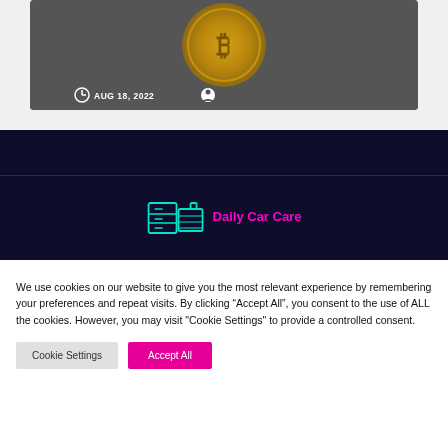[Figure (screenshot): Bitcoin coin image with dark gradient background, showing date AUG 18, 2022 and a user icon at the bottom]
AUG 18, 2022
[Figure (logo): Daily Car Care logo with cyan neon icon of a car/calculator and magenta bold text]
We use cookies on our website to give you the most relevant experience by remembering your preferences and repeat visits. By clicking “Accept All”, you consent to the use of ALL the cookies. However, you may visit "Cookie Settings" to provide a controlled consent.
Cookie Settings
Accept All